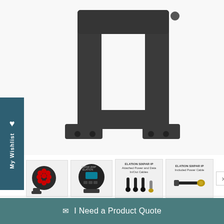[Figure (photo): Close-up photo of a black metal bracket/mounting hardware for the Elation SIXPAR 200IP LED PAR fixture, shown from below against a white background.]
[Figure (photo): Thumbnail row showing four product images: (1) front view of SIXPAR 200IP with red LEDs, (2) rear view of the fixture, (3) attached power and data In/Out cables labeled 'ELATION SIXPAR IP Attached Power and Data In/Out Cables', (4) included power cable labeled 'ELATION SIXPAR IP Included Power Cable'.]
Elation SIXPAR 200IP; 6-IN1 LED IIP65 PAR 150W (SIX013)
I Need a Product Quote